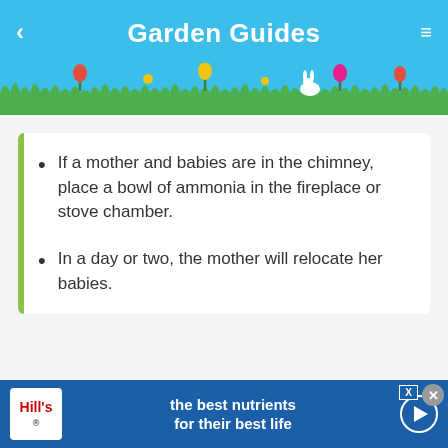Garden Guides
If a mother and babies are in the chimney, place a bowl of ammonia in the fireplace or stove chamber.
In a day or two, the mother will relocate her babies.
Close vent holes and repair loose soffits. Raccoons will pry open loose siding or soffits to gain access to the insides of walls or attics. Secure attic air circulation vents w... h.
[Figure (screenshot): Advertisement banner: Hill's pet nutrition ad with logo, text 'the best nutrients for their best life', and play button on blue background.]